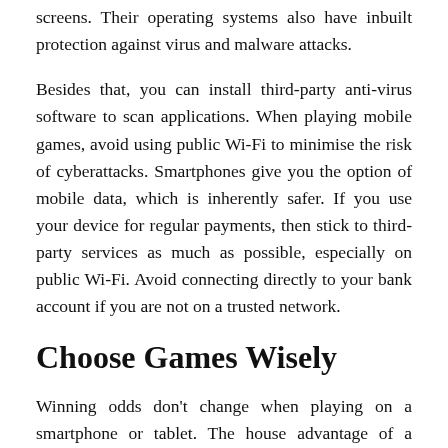screens. Their operating systems also have inbuilt protection against virus and malware attacks.
Besides that, you can install third-party anti-virus software to scan applications. When playing mobile games, avoid using public Wi-Fi to minimise the risk of cyberattacks. Smartphones give you the option of mobile data, which is inherently safer. If you use your device for regular payments, then stick to third-party services as much as possible, especially on public Wi-Fi. Avoid connecting directly to your bank account if you are not on a trusted network.
Choose Games Wisely
Winning odds don't change when playing on a smartphone or tablet. The house advantage of a blackjack game is the same whether you are gambling on your iPhone or a laptop. Thus, be careful about your game choices. The game variety on mobile casinos can be just as diverse as on a regular website. However, the number of titles is typically smaller. Casinos usually halve their offerings in mobile due to limited space. Nevertheless, finding the games you want shouldn't be a problem.